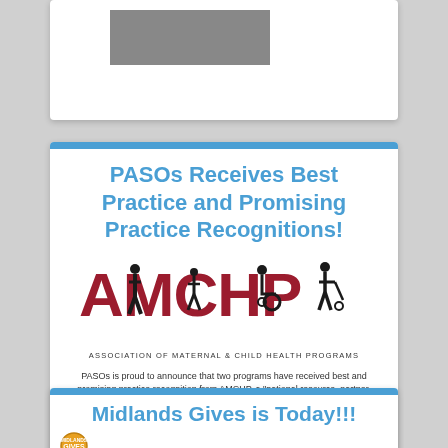[Figure (illustration): Partial top card with a gray rectangle placeholder image]
PASOs Receives Best Practice and Promising Practice Recognitions!
[Figure (logo): AMCHP logo - Association of Maternal & Child Health Programs - with red letters and silhouette figures]
PASOs is proud to announce that two programs have received best and promising practice recognition from AMCHP, a "national resource, partner, and advocate for state public health leaders and others working to improve the health of women, children, youth and families, including those with special health care needs."
Midlands Gives is Today!!!
[Figure (logo): Midlands Gives logo with orange circle and text]